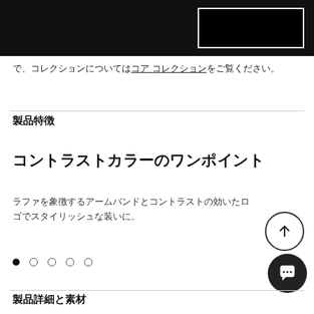で、コレクションについてはコア コレクションをご覧ください。
製品特徴
コントラストカラーのワンポイント
ラファを象徴するアームバンドとコントラストの効いたロゴでスタイリッシュな装いに。
[Figure (other): Scroll-to-top button: circle with upward arrow]
[Figure (other): Chat support button: dark circle with speech bubble icon]
[Figure (other): Dot pagination indicator: 1 filled dot and 4 empty dots]
製品詳細と素材